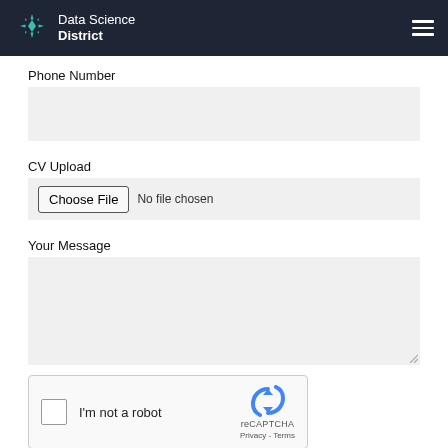Data Science District
Phone Number
CV Upload
Choose File  No file chosen
Your Message
[Figure (screenshot): reCAPTCHA widget with checkbox labeled I'm not a robot, with reCAPTCHA logo and Privacy/Terms links]
SEND